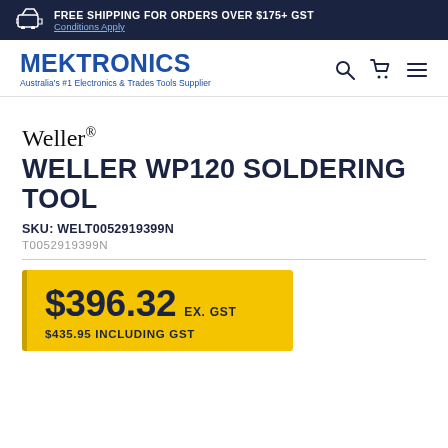FREE SHIPPING FOR ORDERS OVER $175+ GST — Conditions Apply
[Figure (logo): Mektronics logo — Australia's #1 Electronics & Trades Tools Supplier]
Weller®
WELLER WP120 SOLDERING TOOL
SKU: WELT0052919399N
T0052919399N
$396.32 EX. GST
$435.95 INCLUDING GST